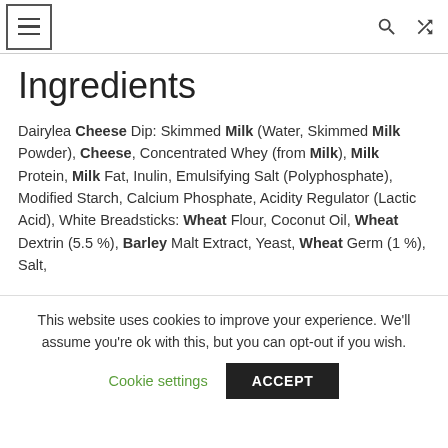Navigation bar with menu, search, and shuffle icons
Ingredients
Dairylea Cheese Dip: Skimmed Milk (Water, Skimmed Milk Powder), Cheese, Concentrated Whey (from Milk), Milk Protein, Milk Fat, Inulin, Emulsifying Salt (Polyphosphate), Modified Starch, Calcium Phosphate, Acidity Regulator (Lactic Acid), White Breadsticks: Wheat Flour, Coconut Oil, Wheat Dextrin (5.5 %), Barley Malt Extract, Yeast, Wheat Germ (1 %), Salt,
This website uses cookies to improve your experience. We'll assume you're ok with this, but you can opt-out if you wish.
Cookie settings | ACCEPT